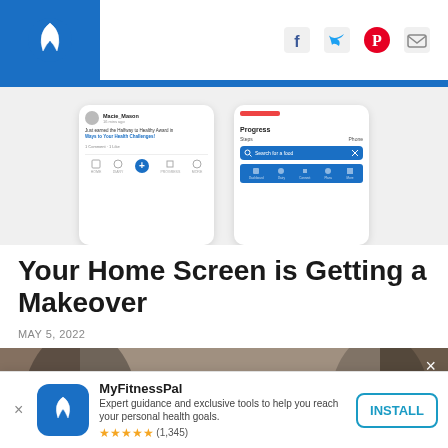MyFitnessPal header with logo and social icons
[Figure (screenshot): Two app screenshots showing the MyFitnessPal home feed and progress screen]
Your Home Screen is Getting a Makeover
MAY 5, 2022
[Figure (photo): Hero image with dark overlay showing text: You're taking control of your]
MyFitnessPal
Expert guidance and exclusive tools to help you reach your personal health goals.
★★★★★ (1,345)